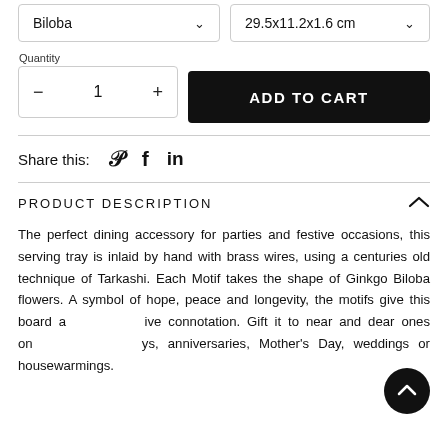Biloba
29.5x11.2x1.6 cm
Quantity
− 1 +
ADD TO CART
Share this:
PRODUCT DESCRIPTION
The perfect dining accessory for parties and festive occasions, this serving tray is inlaid by hand with brass wires, using a centuries old technique of Tarkashi. Each Motif takes the shape of Ginkgo Biloba flowers. A symbol of hope, peace and longevity, the motifs give this board a positive connotation. Gift it to near and dear ones on birthdays, anniversaries, Mother's Day, weddings or housewarmings.